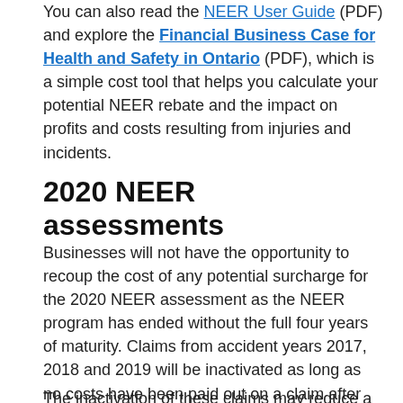You can also read the NEER User Guide (PDF) and explore the Financial Business Case for Health and Safety in Ontario (PDF), which is a simple cost tool that helps you calculate your potential NEER rebate and the impact on profits and costs resulting from injuries and incidents.
2020 NEER assessments
Businesses will not have the opportunity to recoup the cost of any potential surcharge for the 2020 NEER assessment as the NEER program has ended without the full four years of maturity. Claims from accident years 2017, 2018 and 2019 will be inactivated as long as no costs have been paid out on a claim after March 31, 2020 (2020 Q1 NEER statement).
The inactivation of these claims may reduce a business'